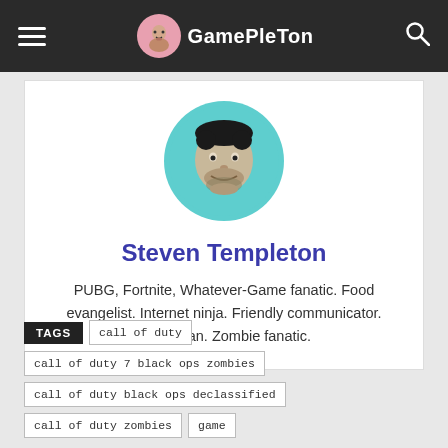GamePleTon
[Figure (illustration): Stylized illustration of a man's face on a teal circle background — site avatar/logo for Steven Templeton]
Steven Templeton
PUBG, Fortnite, Whatever-Game fanatic. Food evangelist. Internet ninja. Friendly communicator. Twitter fan. Zombie fanatic.
TAGS  call of duty  call of duty 7 black ops zombies  call of duty black ops declassified  call of duty zombies  game